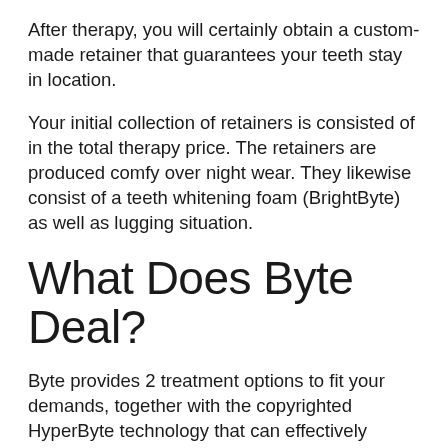After therapy, you will certainly obtain a custom-made retainer that guarantees your teeth stay in location.
Your initial collection of retainers is consisted of in the total therapy price. The retainers are produced comfy over night wear. They likewise consist of a teeth whitening foam (BrightByte) as well as lugging situation.
What Does Byte Deal?
Byte provides 2 treatment options to fit your demands, together with the copyrighted HyperByte technology that can effectively